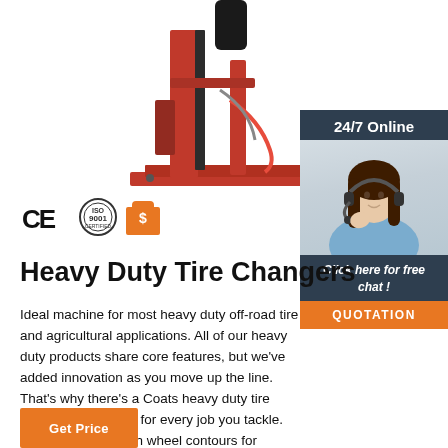[Figure (photo): Heavy duty tire changer machine in red, tall vertical unit with base plate]
[Figure (illustration): CE mark, ISO 9001 certification logo, and dollar/trade badge icons]
[Figure (photo): 24/7 online support sidebar with photo of female customer service agent wearing headset, with orange QUOTATION button]
Heavy Duty Tire Changers
Ideal machine for most heavy duty off-road tire and agricultural applications. All of our heavy duty products share core features, but we've added innovation as you move up the line. That's why there's a Coats heavy duty tire changer that's ideal for every job you tackle. Floating Jaws match wheel contours for excellent grip and safety.
Get Price